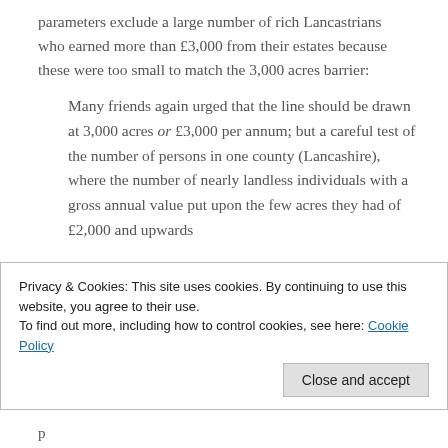parameters exclude a large number of rich Lancastrians who earned more than £3,000 from their estates because these were too small to match the 3,000 acres barrier:
Many friends again urged that the line should be drawn at 3,000 acres or £3,000 per annum; but a careful test of the number of persons in one county (Lancashire), where the number of nearly landless individuals with a gross annual value put upon the few acres they had of £2,000 and upwards...
Privacy & Cookies: This site uses cookies. By continuing to use this website, you agree to their use.
To find out more, including how to control cookies, see here: Cookie Policy